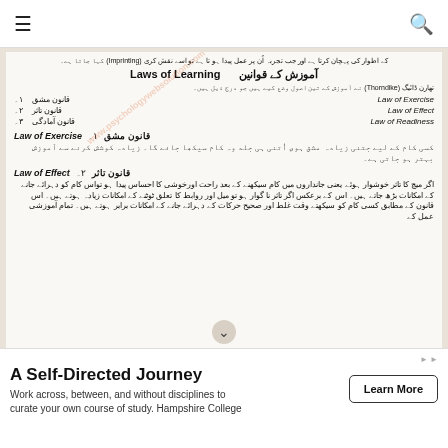Navigation bar with hamburger menu and search icon
کے اطوار کی پہچان کرتا ہے اور جب تجربہ اُن پر عمل پیدا ہو تا ہے تو اسے نقش کری (Imprinting) کہا جاتا ہے۔
آموزش کے قوانین   Laws of Learning
تھارن ڈائیگ (Thorndike) نے آموزش کے تین اصول وضع کیے ہیں جو درج ذیل ہیں۔
1۔ قانون مشق   Law of Exercise
2۔ قانون تاثر   Law of Effect
3۔ قانون آمادگی   Law of Readiness
1۔ قانون مشق   Law of Exercise
کسی کام کے لیے جتنی زیادہ مشق ہوی اُتنی ہی جلد وہ کام سیکھا جائے گا۔ زیادہ کوشش کرنے سے آموزش بہتر ہو جاتی ہے۔
2۔ قانون تاثر   Law of Effect
اگر میچ کا تاثر خوشوار ہوئے یعنی جانداروں میں کام سیکھنے کے بعد راحت اورخوشی کا احساس پیدا ہو تواس کام کو دہرائے جانے کے امکانات بڑھ جاتے ہیں۔ اس کے برعکس اگر تاثر نا گوار ہو تو میل اور روابط کا تعلق ٹوٹنے کے امکانات زیادہ ہوتے ہیں۔ اس قانون کے مطابق کسی کام کو سیکھتے وقت غلط اور صحیح حرکات کے دہرائے جانے کے امکانات برابر ہوتے ہیں۔ تمام آموزشی عمل کے
A Self-Directed Journey
Work across, between, and without disciplines to curate your own course of study. Hampshire College
Learn More